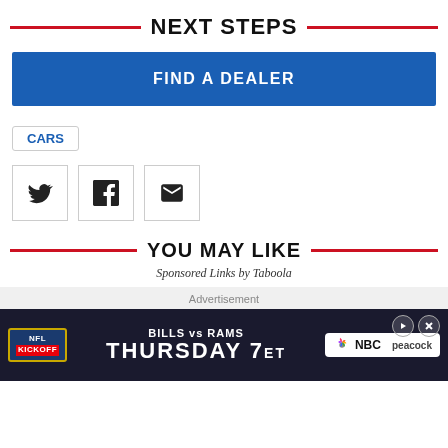NEXT STEPS
FIND A DEALER
CARS
[Figure (infographic): Social sharing icons: Twitter bird icon, Facebook F icon, Email envelope icon, each in a bordered square box]
YOU MAY LIKE
Sponsored Links by Taboola
Advertisement
[Figure (screenshot): NFL advertisement banner: BILLS vs RAMS THURSDAY 7ET on NBC Peacock, with NFL Kickoff badge]